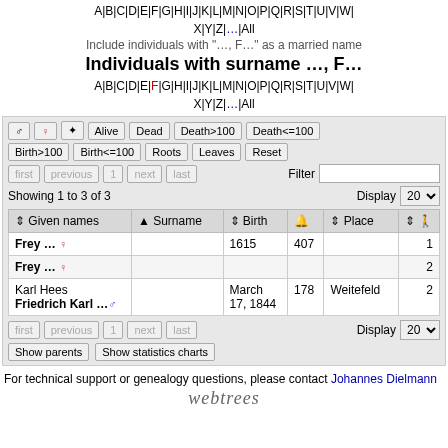A|B|C|D|E|F|G|H|I|J|K|L|M|N|O|P|Q|R|S|T|U|V|W|X|Y|Z|...|All
Include individuals with "..., F..." as a married name
Individuals with surname ..., F...
A|B|C|D|E|F|G|H|I|J|K|L|M|N|O|P|Q|R|S|T|U|V|W|X|Y|Z|...|All
| Given names | Surname | Birth | bell | Place | arrows |
| --- | --- | --- | --- | --- | --- |
| Frey ... ♀ |  | 1615 | 407 |  | 1 |
| Frey ... ♀ |  |  |  |  | 2 |
| Karl Hees Friedrich Karl ... ♂ |  | March 17, 1844 | 178 | Weitefeld | 2 |
For technical support or genealogy questions, please contact Johannes Dielmann
webtrees